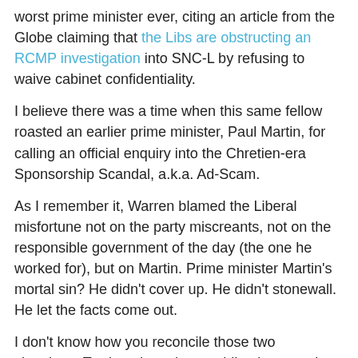worst prime minister ever, citing an article from the Globe claiming that the Libs are obstructing an RCMP investigation into SNC-L by refusing to waive cabinet confidentiality.
I believe there was a time when this same fellow roasted an earlier prime minister, Paul Martin, for calling an official enquiry into the Chretien-era Sponsorship Scandal, a.k.a. Ad-Scam.
As I remember it, Warren blamed the Liberal misfortune not on the party miscreants, not on the responsible government of the day (the one he worked for), but on Martin. Prime minister Martin's mortal sin? He didn't cover up. He didn't stonewall. He let the facts come out.
I don't know how you reconcile those two situations. Trudeau is under no obligation to waive cabinet confidentiality, not that I've heard of. If he's acting lawfully then he's not obstructing the RCMP. Besides didn't his idol, Jody Wilson-Raybould, unequivocally state that there was no criminal wrongdoing? I'm pretty sure she said precisely that.